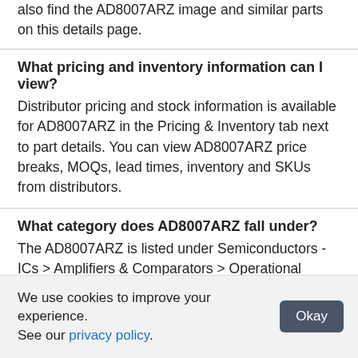also find the AD8007ARZ image and similar parts on this details page.
What pricing and inventory information can I view?
Distributor pricing and stock information is available for AD8007ARZ in the Pricing & Inventory tab next to part details. You can view AD8007ARZ price breaks, MOQs, lead times, inventory and SKUs from distributors.
What category does AD8007ARZ fall under?
The AD8007ARZ is listed under Semiconductors - ICs > Amplifiers & Comparators > Operational Amplifiers - Op Amps.
Can I view similar or alternative parts?
We use cookies to improve your experience. See our privacy policy.